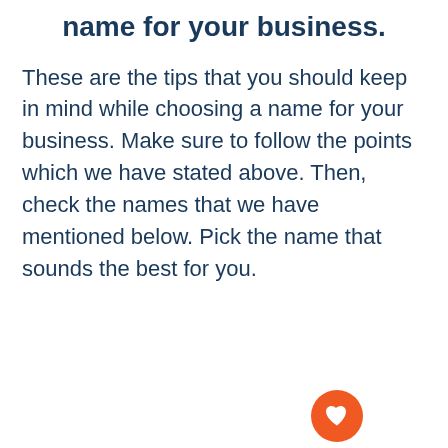name for your business.
These are the tips that you should keep in mind while choosing a name for your business. Make sure to follow the points which we have stated above. Then, check the names that we have mentioned below. Pick the name that sounds the best for you.
[Figure (infographic): UI overlay with heart/like button (orange circle with heart icon), count of 7, share button, and a 'WHAT'S NEXT' teaser bar showing '475+ Best Pool Bar...' with a dark circular thumbnail]